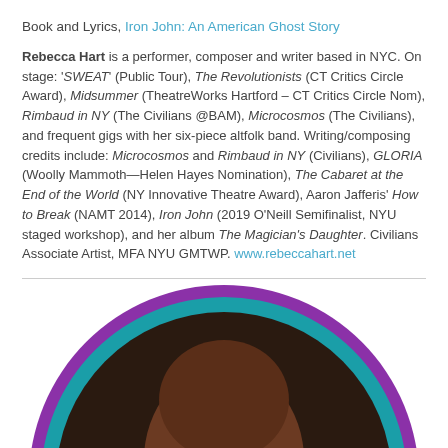Book and Lyrics, Iron John: An American Ghost Story
Rebecca Hart is a performer, composer and writer based in NYC. On stage: 'SWEAT' (Public Tour), The Revolutionists (CT Critics Circle Award), Midsummer (TheatreWorks Hartford – CT Critics Circle Nom), Rimbaud in NY (The Civilians @BAM), Microcosmos (The Civilians), and frequent gigs with her six-piece altfolk band. Writing/composing credits include: Microcosmos and Rimbaud in NY (Civilians), GLORIA (Woolly Mammoth—Helen Hayes Nomination), The Cabaret at the End of the World (NY Innovative Theatre Award), Aaron Jafferis' How to Break (NAMT 2014), Iron John (2019 O'Neill Semifinalist, NYU staged workshop), and her album The Magician's Daughter. Civilians Associate Artist, MFA NYU GMTWP. www.rebeccahart.net
[Figure (photo): Circular portrait photo of a person with a teal/purple circular border frame, cropped at bottom of page]